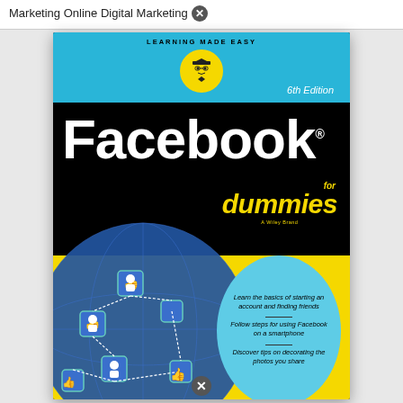Marketing Online Digital Marketing
[Figure (illustration): Book cover of 'Facebook for Dummies, 6th Edition' published by Wiley. Features the Dummies brand logo (graduation cap figure in yellow circle) on a cyan/blue top banner with 'LEARNING MADE EASY'. The main field is black with large white 'Facebook' title text and yellow 'for dummies' branding. Lower portion has a blue circular illustration of a social network with profile icons and thumbs-up icons. A cyan circle on the right lists three bullet features. Bottom background is yellow.]
Learn the basics of starting an account and finding friends
Follow steps for using Facebook on a smartphone
Discover tips on decorating the photos you share